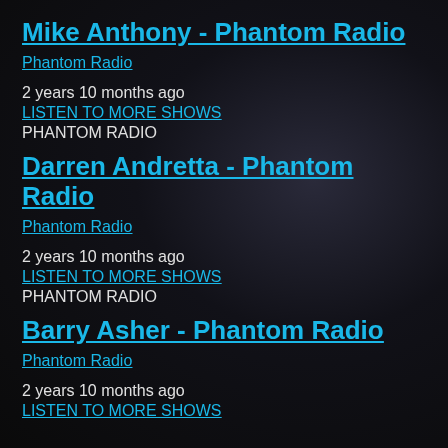Mike Anthony - Phantom Radio
Phantom Radio
2 years 10 months ago
LISTEN TO MORE SHOWS
PHANTOM RADIO
Darren Andretta - Phantom Radio
Phantom Radio
2 years 10 months ago
LISTEN TO MORE SHOWS
PHANTOM RADIO
Barry Asher - Phantom Radio
Phantom Radio
2 years 10 months ago
LISTEN TO MORE SHOWS